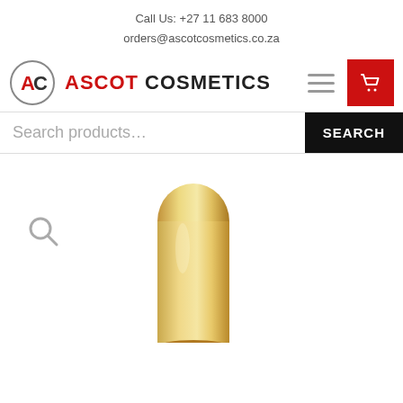Call Us: +27 11 683 8000
orders@ascotcosmetics.co.za
[Figure (logo): Ascot Cosmetics logo with AC circular emblem and brand name]
Search products…
[Figure (photo): Product image showing top of a gold cosmetic stick/lipstick container with a search/magnify icon overlay]